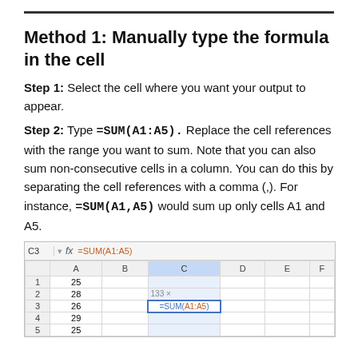Method 1: Manually type the formula in the cell
Step 1: Select the cell where you want your output to appear.
Step 2: Type =SUM(A1:A5). Replace the cell references with the range you want to sum. Note that you can also sum non-consecutive cells in a column. You can do this by separating the cell references with a comma (,). For instance, =SUM(A1,A5) would sum up only cells A1 and A5.
[Figure (screenshot): Excel spreadsheet screenshot showing cell C3 selected with formula =SUM(A1:A5) in the formula bar. Column A contains values 25, 28, 26, 29, 25. Cell C2 shows autocomplete '133 x' and C3 shows =SUM(A1:A5) highlighted in blue border.]